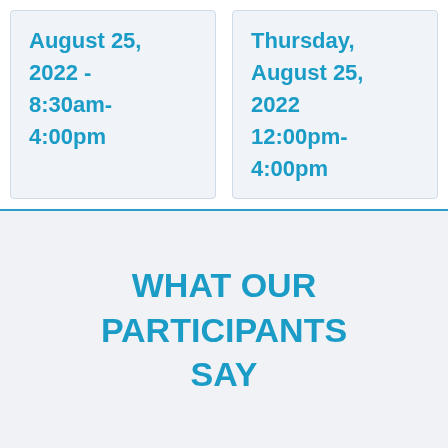August 25, 2022 - 8:30am-4:00pm
Thursday, August 25, 2022 12:00pm-4:00pm
WHAT OUR PARTICIPANTS SAY